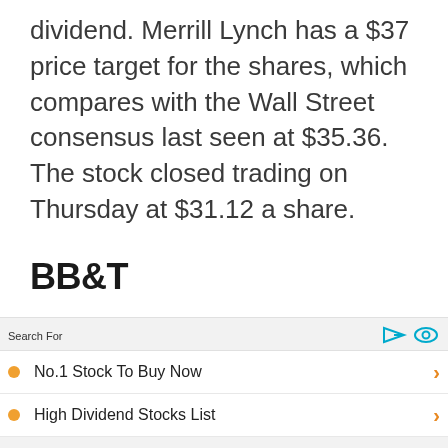dividend. Merrill Lynch has a $37 price target for the shares, which compares with the Wall Street consensus last seen at $35.36. The stock closed trading on Thursday at $31.12 a share.
BB&T
Search For
No.1 Stock To Buy Now
High Dividend Stocks List